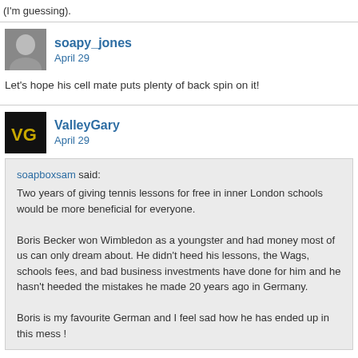(I'm guessing).
soapy_jones
April 29
Let's hope his cell mate puts plenty of back spin on it!
ValleyGary
April 29
soapboxsam said:
Two years of giving tennis lessons for free in inner London schools would be more beneficial for everyone.

Boris Becker won Wimbledon as a youngster and had money most of us can only dream about. He didn't heed his lessons, the Wags, schools fees, and bad business investments have done for him and he hasn't heeded the mistakes he made 20 years ago in Germany.

Boris is my favourite German and I feel sad how he has ended up in this mess !
Whilst i agree that it would be more beneficial for the public it's not much of a